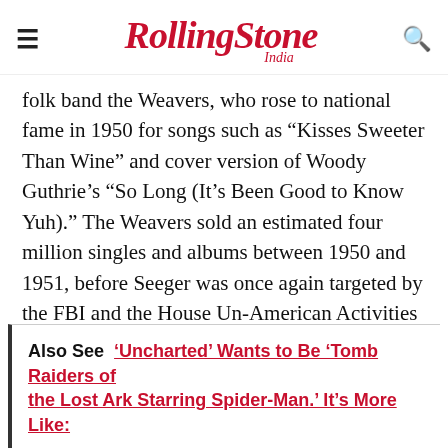Rolling Stone India
folk band the Weavers, who rose to national fame in 1950 for songs such as “Kisses Sweeter Than Wine” and cover version of Woody Guthrie’s “So Long (It’s Been Good to Know Yuh).” The Weavers sold an estimated four million singles and albums between 1950 and 1951, before Seeger was once again targeted by the FBI and the House Un-American Activities Committee for his communist leanings [Seeger had, by then, quit the communist party] and the Weavers’s popularity suffered.
Also See ‘Uncharted’ Wants to Be ‘Tomb Raiders of the Lost Ark Starring Spider-Man.’ It’s More Like: